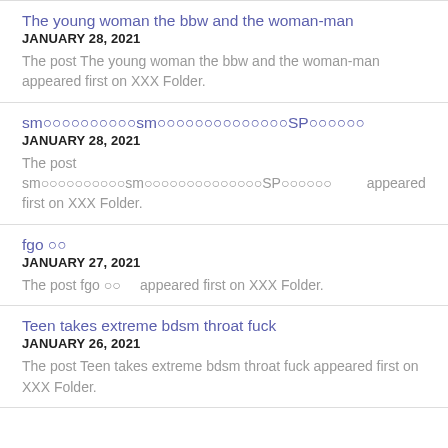The young woman the bbw and the woman-man
JANUARY 28, 2021
The post The young woman the bbw and the woman-man appeared first on XXX Folder.
sm○○○○○○○○○○sm○○○○○○○○○○○○○○SP○○○○○○
JANUARY 28, 2021
The post sm○○○○○○○○○○sm○○○○○○○○○○○○○○SP○○○○○○ appeared first on XXX Folder.
fgo 〇〇
JANUARY 27, 2021
The post fgo 〇〇 appeared first on XXX Folder.
Teen takes extreme bdsm throat fuck
JANUARY 26, 2021
The post Teen takes extreme bdsm throat fuck appeared first on XXX Folder.